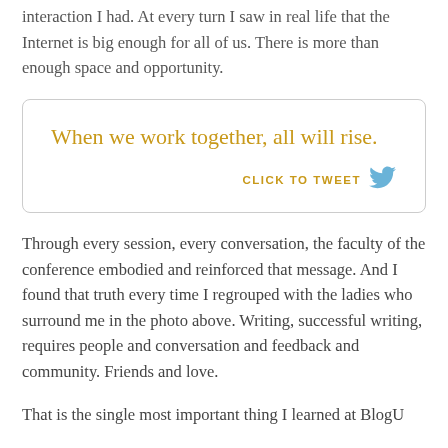interaction I had. At every turn I saw in real life that the Internet is big enough for all of us. There is more than enough space and opportunity.
When we work together, all will rise.
CLICK TO TWEET
Through every session, every conversation, the faculty of the conference embodied and reinforced that message. And I found that truth every time I regrouped with the ladies who surround me in the photo above. Writing, successful writing, requires people and conversation and feedback and community. Friends and love.
That is the single most important thing I learned at BlogU